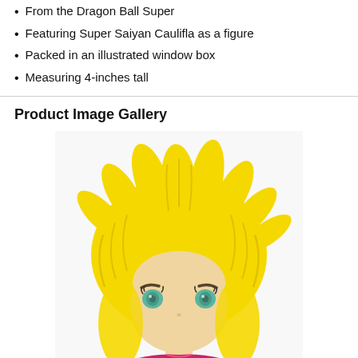From the Dragon Ball Super
Featuring Super Saiyan Caulifla as a figure
Packed in an illustrated window box
Measuring 4-inches tall
Product Image Gallery
[Figure (photo): Funko Pop figure of Super Saiyan Caulifla from Dragon Ball Super, featuring large spiky yellow hair, teal eyes, and a small chibi-style face with a pink/magenta outfit visible at the bottom]